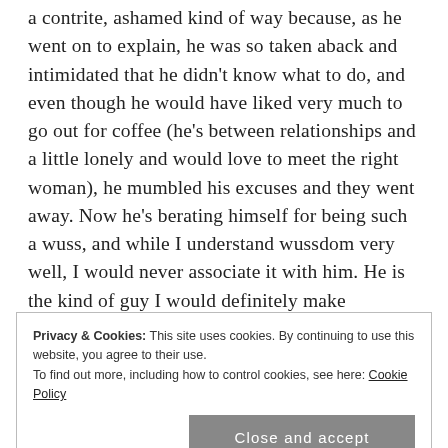a contrite, ashamed kind of way because, as he went on to explain, he was so taken aback and intimidated that he didn't know what to do, and even though he would have liked very much to go out for coffee (he's between relationships and a little lonely and would love to meet the right woman), he mumbled his excuses and they went away. Now he's berating himself for being such a wuss, and while I understand wussdom very well, I would never associate it with him. He is the kind of guy I would definitely make assumptions about. And they would be wrong.
Privacy & Cookies: This site uses cookies. By continuing to use this website, you agree to their use. To find out more, including how to control cookies, see here: Cookie Policy
Close and accept
the hot guy on the stationary bike, and I can only